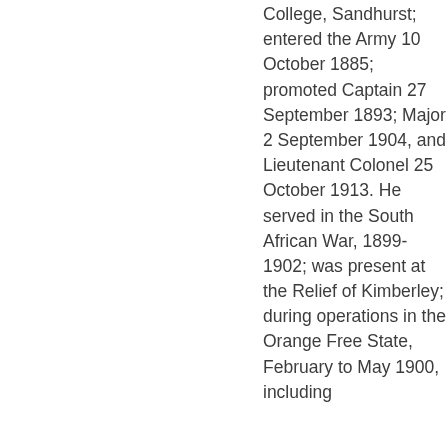College, Sandhurst; entered the Army 10 October 1885; promoted Captain 27 September 1893; Major 2 September 1904, and Lieutenant Colonel 25 October 1913. He served in the South African War, 1899-1902; was present at the Relief of Kimberley; during operations in the Orange Free State, February to May 1900, including